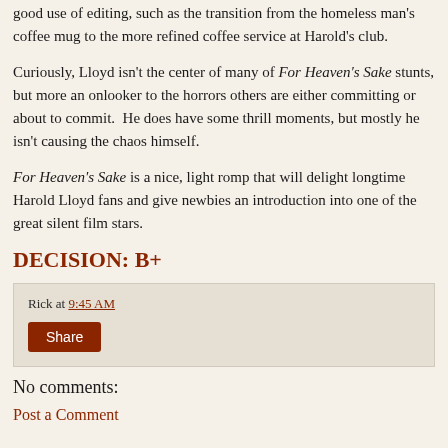good use of editing, such as the transition from the homeless man's coffee mug to the more refined coffee service at Harold's club.
Curiously, Lloyd isn't the center of many of For Heaven's Sake stunts, but more an onlooker to the horrors others are either committing or about to commit.  He does have some thrill moments, but mostly he isn't causing the chaos himself.
For Heaven's Sake is a nice, light romp that will delight longtime Harold Lloyd fans and give newbies an introduction into one of the great silent film stars.
DECISION: B+
Rick at 9:45 AM
Share
No comments:
Post a Comment